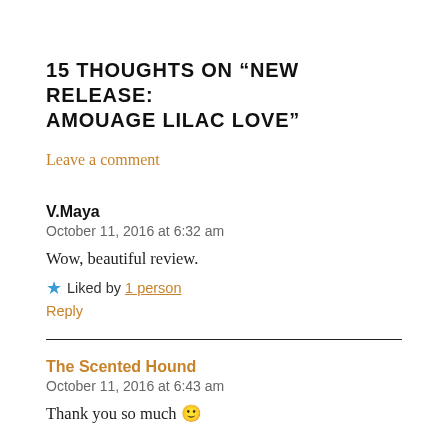15 THOUGHTS ON “NEW RELEASE: AMOUAGE LILAC LOVE”
Leave a comment
V.Maya
October 11, 2016 at 6:32 am
Wow, beautiful review.
★ Liked by 1 person
Reply
The Scented Hound
October 11, 2016 at 6:43 am
Thank you so much 🙂